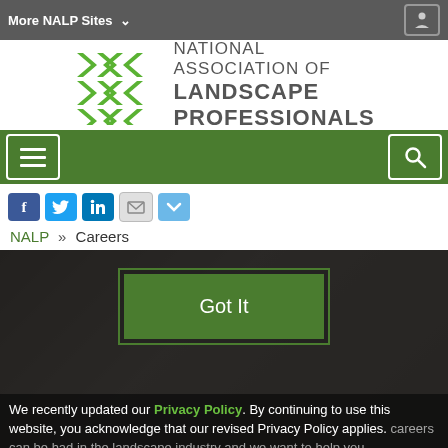More NALP Sites ∨
[Figure (logo): National Association of Landscape Professionals logo with green arrow/X mark symbol and text]
[Figure (screenshot): Green navigation bar with hamburger menu button on left and search button on right]
[Figure (screenshot): Social media icons row: Facebook, Twitter, LinkedIn, Email, Share]
NALP » Careers
[Figure (photo): Photo of people at a landscape professionals event with Got It cookie consent dialog overlay and privacy policy notice]
We recently updated our Privacy Policy. By continuing to use this website, you acknowledge that our revised Privacy Policy applies. careers can be had in the landscape industry and we want to help you